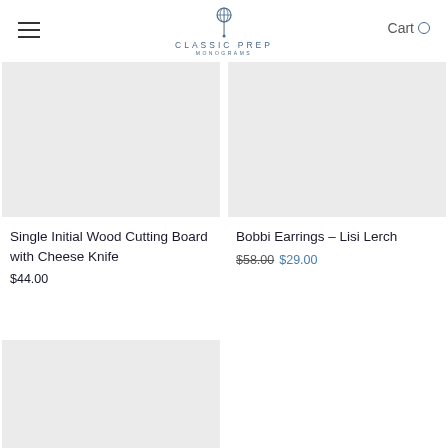Classic Prep Monograms
[Figure (photo): Product image placeholder for Single Initial Wood Cutting Board with Cheese Knife]
Single Initial Wood Cutting Board with Cheese Knife
$44.00
[Figure (photo): Product image placeholder for Bobbi Earrings – Lisi Lerch]
Bobbi Earrings – Lisi Lerch
$58.00 $29.00
[Figure (photo): Product image placeholder (third item, partially visible)]